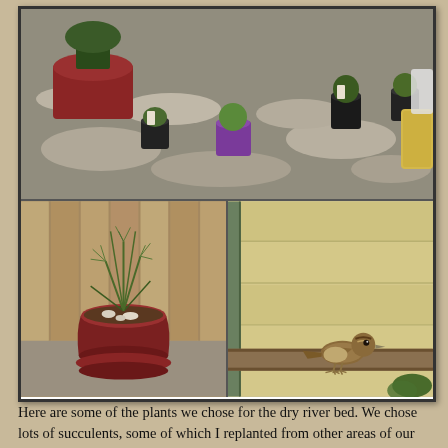[Figure (photo): Three photos arranged in a grid: top photo shows a gravel garden with stone pavers and potted plants including a purple pot with green plant; bottom-left photo shows a red pot with a feathery green plant against a wooden fence; bottom-right photo shows a small sparrow bird perched on a wooden ledge against a yellow wall.]
Here are some of the plants we chose for the dry river bed. We chose lots of succulents, some of which I replanted from other areas of our garden. All of the succulents do really well in our yard and have spread nicely throughout the garden. We put in some hens and chicks, some thrift, and some different — and will have to get a plant key to the best in th